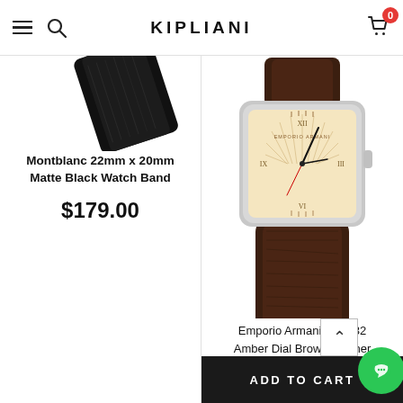KIPLIANI
[Figure (photo): Partial view of Montblanc black watch band, angled top-left]
Montblanc 22mm x 20mm Matte Black Watch Band
$179.00
[Figure (photo): Emporio Armani AR2032 watch with cream/amber rectangular dial, Roman numerals, dark brown leather strap, silver case]
Emporio Armani AR2032 Amber Dial Brown Leather Strap Men's Watch
ADD TO CART